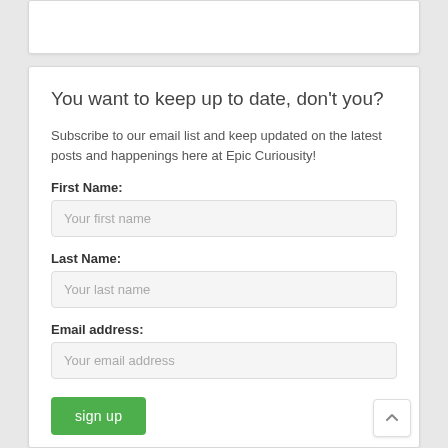You want to keep up to date, don't you?
Subscribe to our email list and keep updated on the latest posts and happenings here at Epic Curiousity!
First Name:
Your first name
Last Name:
Your last name
Email address:
Your email address
sign up